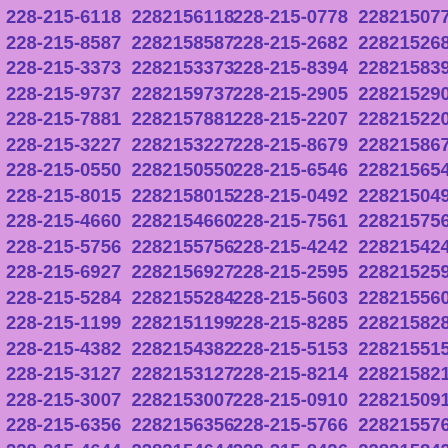| 228-215-6118 | 2282156118 | 228-215-0778 | 2282150778 |
| 228-215-8587 | 2282158587 | 228-215-2682 | 2282152682 |
| 228-215-3373 | 2282153373 | 228-215-8394 | 2282158394 |
| 228-215-9737 | 2282159737 | 228-215-2905 | 2282152905 |
| 228-215-7881 | 2282157881 | 228-215-2207 | 2282152207 |
| 228-215-3227 | 2282153227 | 228-215-8679 | 2282158679 |
| 228-215-0550 | 2282150550 | 228-215-6546 | 2282156546 |
| 228-215-8015 | 2282158015 | 228-215-0492 | 2282150492 |
| 228-215-4660 | 2282154660 | 228-215-7561 | 2282157561 |
| 228-215-5756 | 2282155756 | 228-215-4242 | 2282154242 |
| 228-215-6927 | 2282156927 | 228-215-2595 | 2282152595 |
| 228-215-5284 | 2282155284 | 228-215-5603 | 2282155603 |
| 228-215-1199 | 2282151199 | 228-215-8285 | 2282158285 |
| 228-215-4382 | 2282154382 | 228-215-5153 | 2282155153 |
| 228-215-3127 | 2282153127 | 228-215-8214 | 2282158214 |
| 228-215-3007 | 2282153007 | 228-215-0910 | 2282150910 |
| 228-215-6356 | 2282156356 | 228-215-5766 | 2282155766 |
| 228-215-4644 | 2282154644 | 228-215-8426 | 2282158426 |
| 228-215-4094 | 2282154094 | 228-215-5678 | 2282155678 |
| 228-215-3780 | 2282153780 | 228-215-9698 | 2282159698 |
| 228-215-9409 | 2282159409 | 228-215-4429 | 2282154429 |